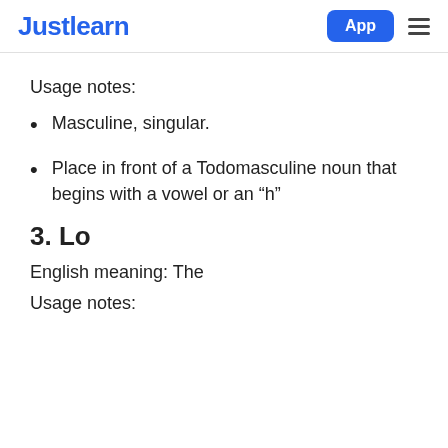Justlearn  App
Usage notes:
Masculine, singular.
Place in front of a Todomasculine noun that begins with a vowel or an “h”
3. Lo
English meaning: The
Usage notes: